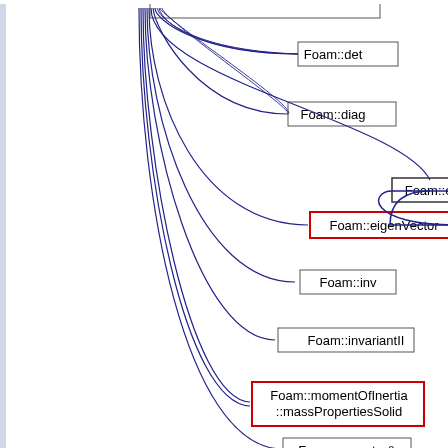[Figure (flowchart): A dependency/call graph showing nodes: Foam::det, Foam::diag, Foam::eigenVector (red border, with arrow from Foam::ei partially visible on right), Foam::inv, Foam::invariantII, Foam::momentOfInertia::massPropertiesSolid (red border), Foam::operator&. Multiple curved blue lines fan out from the left side to each node. A partial node 'Foam::ei' is visible at the right edge.]